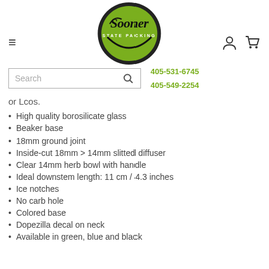[Figure (logo): Sooner State Packing logo — circular green and black logo with cursive 'Sooner' text and 'STATE PACKING' subtitle]
or Lcos.
High quality borosilicate glass
Beaker base
18mm ground joint
Inside-cut 18mm > 14mm slitted diffuser
Clear 14mm herb bowl with handle
Ideal downstem length: 11 cm / 4.3 inches
Ice notches
No carb hole
Colored base
Dopezilla decal on neck
Available in green, blue and black